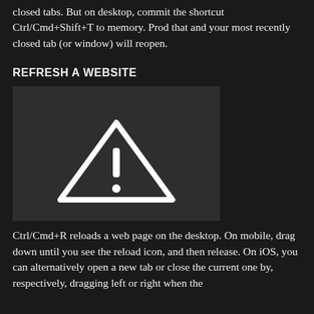closed tabs. But on desktop, commit the shortcut Ctrl/Cmd+Shift+T to memory. Prod that and your most recently closed tab (or window) will reopen.
REFRESH A WEBSITE
[Figure (illustration): Dark grey rectangle containing a white warning triangle with an exclamation mark icon in the center]
Ctrl/Cmd+R reloads a web page on the desktop. On mobile, drag down until you see the reload icon, and then release. On iOS, you can alternatively open a new tab or close the current one by, respectively, dragging left or right when the